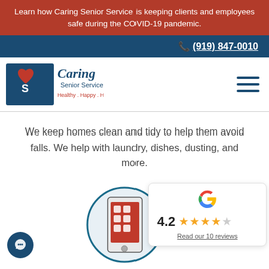Learn how Caring Senior Service is keeping clients and employees safe during the COVID-19 pandemic.
📞 (919) 847-0010
[Figure (logo): Caring Senior Service logo with red heart and blue text reading 'Caring Senior Service' and tagline 'Healthy . Happy . Home.']
We keep homes clean and tidy to help them avoid falls. We help with laundry, dishes, dusting, and more.
[Figure (illustration): Smartphone icon inside a circle with teal border, showing a red phone screen with app grid icons]
[Figure (infographic): Google review widget showing Google G logo, rating of 4.2 with 4 gold stars and 1 grey star, and link 'Read our 10 reviews']